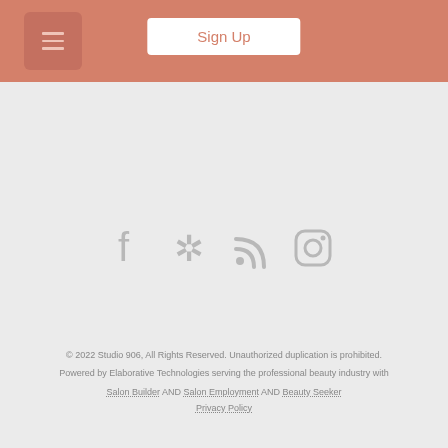Sign Up
[Figure (illustration): Social media icons: Facebook, Yelp, RSS feed, Instagram displayed in gray]
© 2022 Studio 906, All Rights Reserved. Unauthorized duplication is prohibited. Powered by Elaborative Technologies serving the professional beauty industry with Salon Builder AND Salon Employment AND Beauty Seeker Privacy Policy